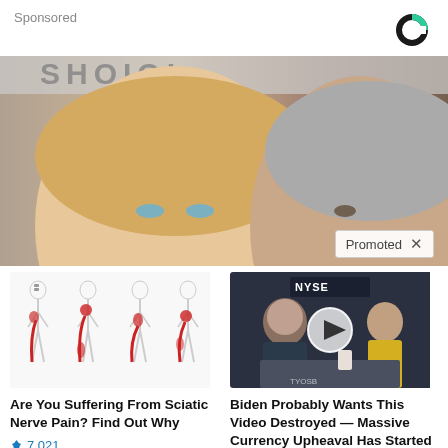Sponsored
[Figure (logo): Circular logo with green and dark segments]
[Figure (photo): Photo of a blonde woman and an older man with gray hair, partially visible faces, with 'Promoted X' overlay badge]
[Figure (photo): Medical illustration showing sciatic nerve pain in human body figures with red highlighted areas]
Are You Suffering From Sciatic Nerve Pain? Find Out Why
7,021
[Figure (screenshot): Video thumbnail showing a man in a TV studio with NYSE signage and a play button overlay]
Biden Probably Wants This Video Destroyed — Massive Currency Upheaval Has Started
139,929